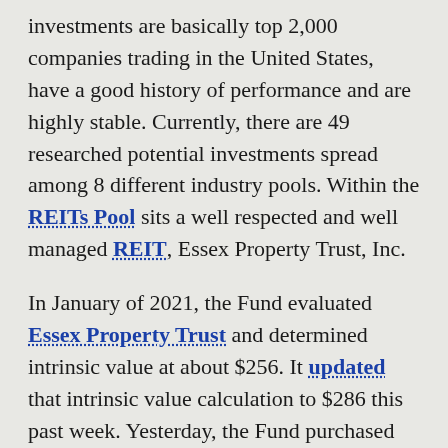investments are basically top 2,000 companies trading in the United States, have a good history of performance and are highly stable. Currently, there are 49 researched potential investments spread among 8 different industry pools. Within the REITs Pool sits a well respected and well managed REIT, Essex Property Trust, Inc.
In January of 2021, the Fund evaluated Essex Property Trust and determined intrinsic value at about $256. It updated that intrinsic value calculation to $286 this past week. Yesterday, the Fund purchased 71.6846 shares at $278 a share and a $1 per share transaction fee. As the market price for a particular investment goes down, an option price for a PUT actually increases. Thus, a seller of a PUT, in this case, the Fund, can sell this insurance policy to a